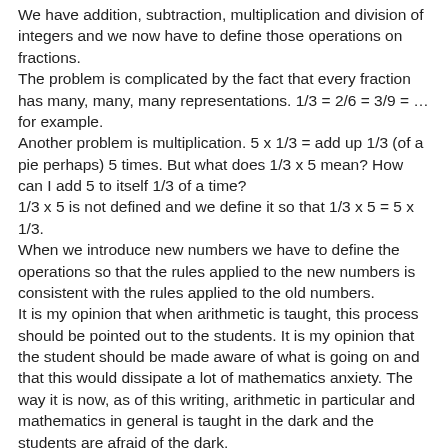We have addition, subtraction, multiplication and division of integers and we now have to define those operations on fractions.
The problem is complicated by the fact that every fraction has many, many, many representations. 1/3 = 2/6 = 3/9 = … for example.
Another problem is multiplication. 5 x 1/3 = add up 1/3 (of a pie perhaps) 5 times. But what does 1/3 x 5 mean? How can I add 5 to itself 1/3 of a time?
1/3 x 5 is not defined and we define it so that 1/3 x 5 = 5 x 1/3.
When we introduce new numbers we have to define the operations so that the rules applied to the new numbers is consistent with the rules applied to the old numbers.
It is my opinion that when arithmetic is taught, this process should be pointed out to the students. It is my opinion that the student should be made aware of what is going on and that this would dissipate a lot of mathematics anxiety. The way it is now, as of this writing, arithmetic in particular and mathematics in general is taught in the dark and the students are afraid of the dark.